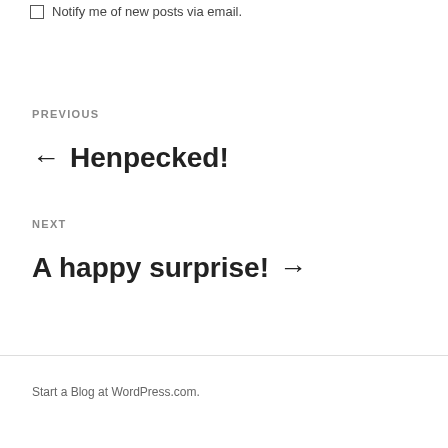Notify me of new posts via email.
PREVIOUS
← Henpecked!
NEXT
A happy surprise! →
Start a Blog at WordPress.com.